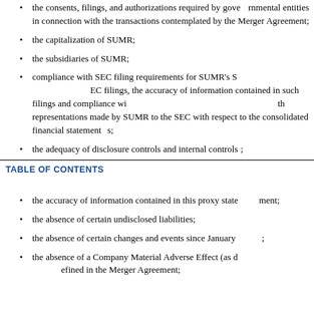the consents, filings, and authorizations required by governmental entities in connection with the transactions contemplated by the Merger Agreement;
the capitalization of SUMR;
the subsidiaries of SUMR;
compliance with SEC filing requirements for SUMR's SEC filings, the accuracy of information contained in such filings and compliance with representations made by SUMR to the SEC with respect to the consolidated financial statements;
the adequacy of disclosure controls and internal controls;
69
TABLE OF CONTENTS
the accuracy of information contained in this proxy statement;
the absence of certain undisclosed liabilities;
the absence of certain changes and events since January [date];
the absence of a Company Material Adverse Effect (as defined in the Merger Agreement);